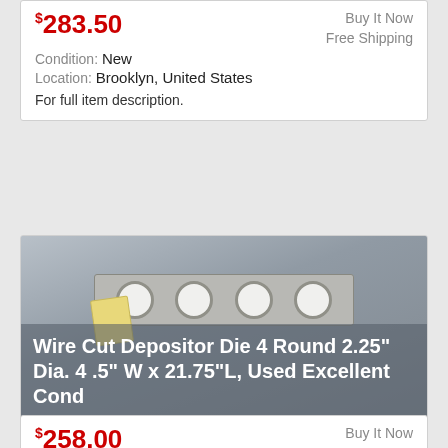$283.50
Buy It Now
Free Shipping
Condition: New
Location: Brooklyn, United States
For full item description.
[Figure (photo): A metal wire cut depositor die with 4 round holes, approximately 2.25 inch diameter, with a price tag attached. Product name overlay reads: Wire Cut Depositor Die 4 Round 2.25" Dia. 4 .5" W x 21.75"L, Used Excellent Cond]
$258.00
Buy It Now
Free Shipping